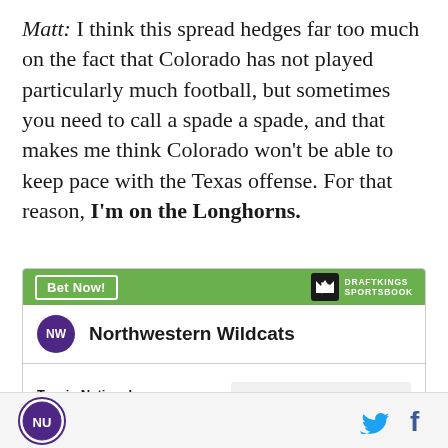Matt: I think this spread hedges far too much on the fact that Colorado has not played particularly much football, but sometimes you need to call a spade a spade, and that makes me think Colorado won't be able to keep pace with the Texas offense. For that reason, I'm on the Longhorns.
[Figure (infographic): DraftKings Sportsbook bet widget showing Northwestern Wildcats with odds +50000 to win National Championship. Green header with 'Bet Now!' button and DraftKings Sportsbook logo.]
Northwestern Wildcats NU logo, Twitter and Facebook social icons